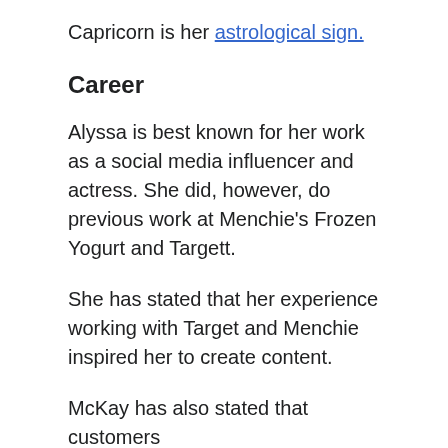Capricorn is her astrological sign.
Career
Alyssa is best known for her work as a social media influencer and actress. She did, however, do previous work at Menchie's Frozen Yogurt and Targett.
She has stated that her experience working with Target and Menchie inspired her to create content.
McKay has also stated that customers